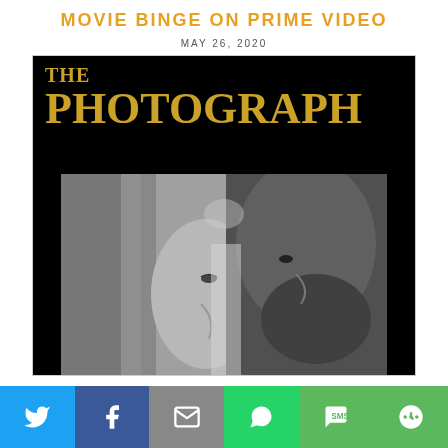MOVIE BINGE ON PRIME VIDEO
MAY 26, 2020
[Figure (photo): Movie poster for 'The Photograph' showing a black and white close-up of a man and woman facing each other with foreheads nearly touching, on a black background with golden title text 'THE PHOTOGRAPH']
[Figure (infographic): Social media share bar with Twitter, Facebook, Email, WhatsApp, SMS, and More buttons]